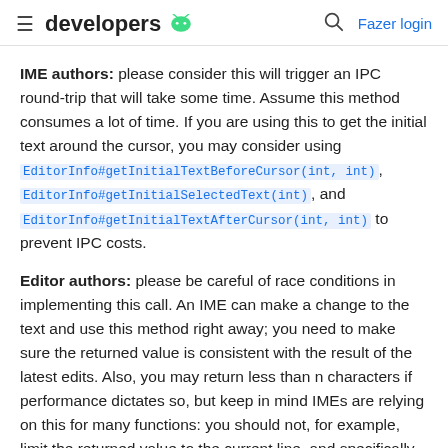developers
IME authors: please consider this will trigger an IPC round-trip that will take some time. Assume this method consumes a lot of time. If you are using this to get the initial text around the cursor, you may consider using EditorInfo#getInitialTextBeforeCursor(int, int), EditorInfo#getInitialSelectedText(int), and EditorInfo#getInitialTextAfterCursor(int, int) to prevent IPC costs.
Editor authors: please be careful of race conditions in implementing this call. An IME can make a change to the text and use this method right away; you need to make sure the returned value is consistent with the result of the latest edits. Also, you may return less than n characters if performance dictates so, but keep in mind IMEs are relying on this for many functions: you should not, for example, limit the returned value to the current line, and specifically